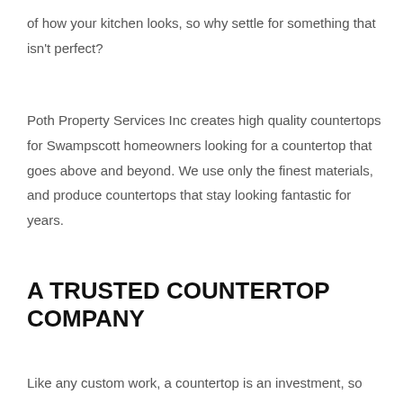of how your kitchen looks, so why settle for something that isn't perfect?
Poth Property Services Inc creates high quality countertops for Swampscott homeowners looking for a countertop that goes above and beyond. We use only the finest materials, and produce countertops that stay looking fantastic for years.
A TRUSTED COUNTERTOP COMPANY
Like any custom work, a countertop is an investment, so